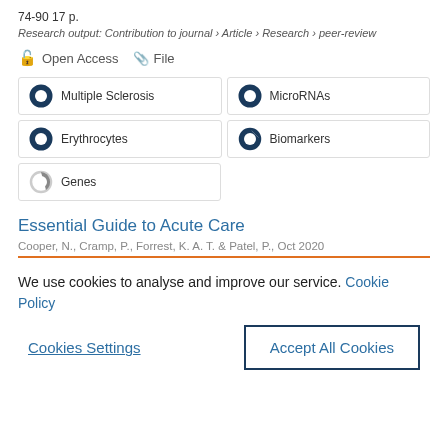74-90 17 p.
Research output: Contribution to journal › Article › Research › peer-review
🔓 Open Access  📎 File
Multiple Sclerosis
MicroRNAs
Erythrocytes
Biomarkers
Genes
Essential Guide to Acute Care
Cooper, N., Cramp, P., Forrest, K. A. T. & Patel, P., Oct 2020
We use cookies to analyse and improve our service. Cookie Policy
Cookies Settings
Accept All Cookies